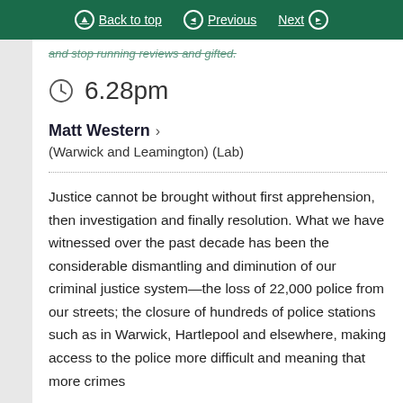Back to top | Previous | Next
and stop running reviews and gifted.
6.28pm
Matt Western > (Warwick and Leamington) (Lab)
Justice cannot be brought without first apprehension, then investigation and finally resolution. What we have witnessed over the past decade has been the considerable dismantling and diminution of our criminal justice system—the loss of 22,000 police from our streets; the closure of hundreds of police stations such as in Warwick, Hartlepool and elsewhere, making access to the police more difficult and meaning that more crimes